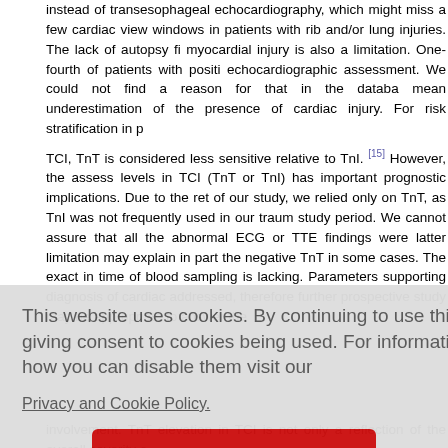instead of transesophageal echocardiography, which might miss a few cardiac view windows in patients with rib and/or lung injuries. The lack of autopsy findings to confirm myocardial injury is also a limitation. One-fourth of patients with positive echocardiographic assessment. We could not find a reason for that in the database. This may mean underestimation of the presence of cardiac injury. For risk stratification in patients with TCI, TnT is considered less sensitive relative to TnI. [15] However, the assessment of troponin levels in TCI (TnT or TnI) has important prognostic implications. Due to the retrospective nature of our study, we relied only on TnT, as TnI was not frequently used in our trauma center during the study period. We cannot assure that all the abnormal ECG or TTE findings were due to TCI. The latter limitation may explain in part the negative TnT in some cases. The exact information on the time of blood sampling is lacking. Parameters supporting diagnosis of cardiac injury are not fully addressed, therefore further prospective study may be appropriate to answer these questions.
chest trauma ... num timing ... d rarely en...
[Figure (screenshot): Cookie consent overlay dialog with text: 'This website uses cookies. By continuing to use this website you are giving consent to cookies being used. For information on cookies and how you can disable them visit our Privacy and Cookie Policy.' and an AGREE & PROCEED button.]
...ytrauma ca... clinical evid... involvement. TnT elevation in TCI is not only a reflection of the overall severity of cardiac involvement.